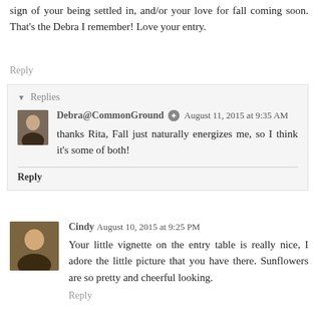sign of your being settled in, and/or your love for fall coming soon. That’s the Debra I remember! Love your entry.
Reply
Replies
Debra@CommonGround  August 11, 2015 at 9:35 AM
thanks Rita, Fall just naturally energizes me, so I think it’s some of both!
Reply
Cindy  August 10, 2015 at 9:25 PM
Your little vignette on the entry table is really nice, I adore the little picture that you have there. Sunflowers are so pretty and cheerful looking.
Reply